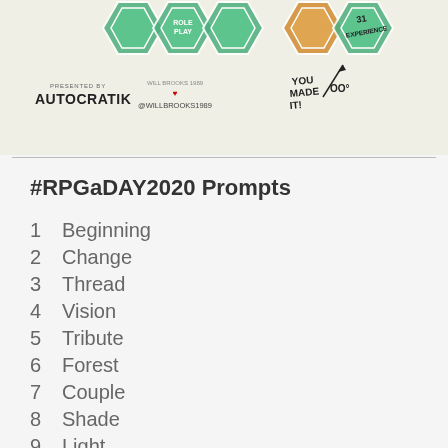[Figure (illustration): RPGaDAY2020 banner with green and orange hexagon badges, AUTOCRATIK branding, @willbrooks1989 social handle, and handwritten 'YOU MADE IT!' with '31 EXPERIENCE' text]
#RPGaDAY2020 Prompts
1  Beginning
2  Change
3  Thread
4  Vision
5  Tribute
6  Forest
7  Couple
8  Shade
9  Light
10  Want
11  Stack